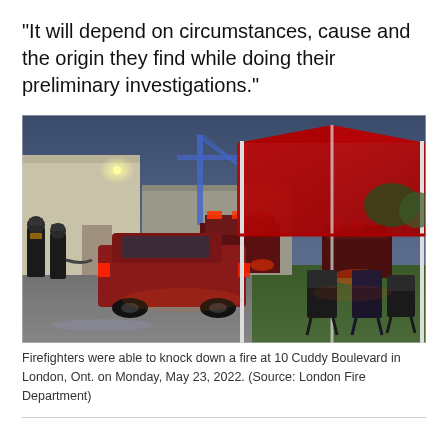“It will depend on circumstances, cause and the origin they find while doing their preliminary investigations.”
[Figure (photo): Firefighters at the scene of a fire at 10 Cuddy Boulevard in London, Ontario. A red command SUV and fire trucks with flashing lights are visible, along with a red canopy tent with folding chairs on the right, and firefighters in gear walking on the left. The scene is at dusk with overcast skies.]
Firefighters were able to knock down a fire at 10 Cuddy Boulevard in London, Ont. on Monday, May 23, 2022. (Source: London Fire Department)